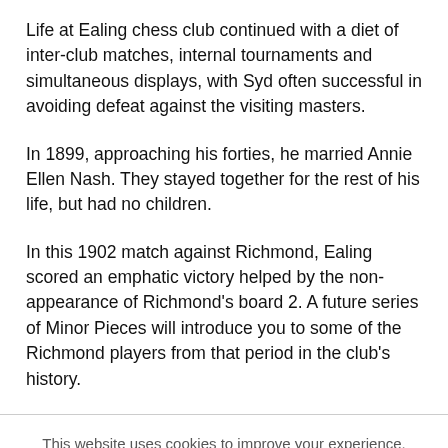Life at Ealing chess club continued with a diet of inter-club matches, internal tournaments and simultaneous displays, with Syd often successful in avoiding defeat against the visiting masters.
In 1899, approaching his forties, he married Annie Ellen Nash. They stayed together for the rest of his life, but had no children.
In this 1902 match against Richmond, Ealing scored an emphatic victory helped by the non-appearance of Richmond's board 2. A future series of Minor Pieces will introduce you to some of the Richmond players from that period in the club's history.
This website uses cookies to improve your experience. We'll assume you're ok with this, but you can opt-out if you wish.
Cookie settings   ACCEPT